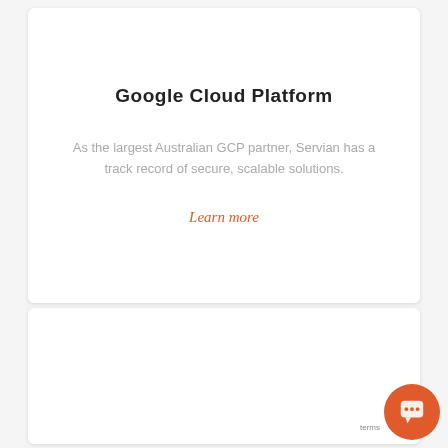Google Cloud Platform
As the largest Australian GCP partner, Servian has a track record of secure, scalable solutions.
Learn more
[Figure (other): White card section at bottom, partially visible]